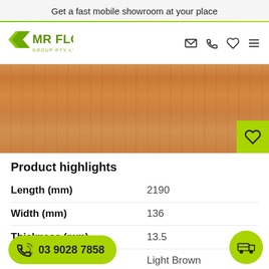Get a fast mobile showroom at your place
[Figure (logo): Mr Floor Group Pty Ltd logo with green chevron mark]
[Figure (photo): Close-up photo of light brown timber flooring planks showing wood grain texture]
Product highlights
| Attribute | Value |
| --- | --- |
| Length (mm) | 2190 |
| Width (mm) | 136 |
| Thickness (mm) | 13.5 |
| Colour | Light Brown |